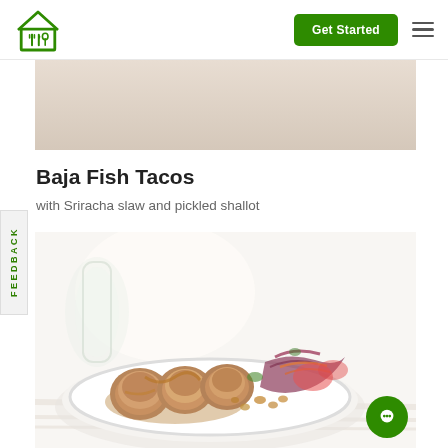Home Chef navigation header with logo, Get Started button, and menu
[Figure (photo): Beige/tan hero banner image placeholder at top of page]
Baja Fish Tacos
with Sriracha slaw and pickled shallot
[Figure (photo): Food photo of Baja Fish Tacos on a white plate with Sriracha slaw and pickled shallot on a white wooden surface]